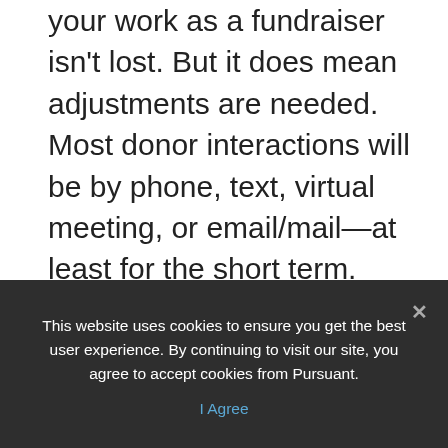your work as a fundraiser isn't lost. But it does mean adjustments are needed. Most donor interactions will be by phone, text, virtual meeting, or email/mail—at least for the short term. You'll need to engage with your donors in ways that are significant and then track these interactions in ways that show you the full picture. It's possible that once the COVID-19 situation resolves, we will be able to return to many of our usual donor development practices. However, if we can learn to adapt and find additional ways to make meaningful—
This website uses cookies to ensure you get the best user experience. By continuing to visit our site, you agree to accept cookies from Pursuant.
I Agree